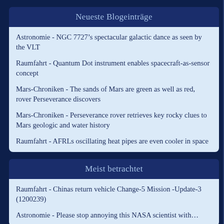Neueste Blogeinträge
Astronomie - NGC 7727’s spectacular galactic dance as seen by the VLT
Raumfahrt - Quantum Dot instrument enables spacecraft-as-sensor concept
Mars-Chroniken - The sands of Mars are green as well as red, rover Perseverance discovers
Mars-Chroniken - Perseverance rover retrieves key rocky clues to Mars geologic and water history
Raumfahrt - AFRLs oscillating heat pipes are even cooler in space
Meist betrachtet
Raumfahrt - Chinas return vehicle Change-5 Mission -Update-3 (1200239)
Astronomie - Please stop annoying this NASA scientist with…